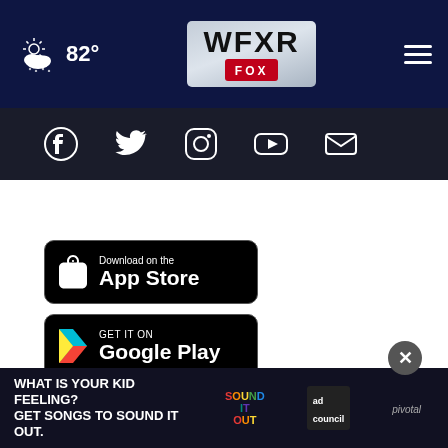82° WFXR FOX
[Figure (screenshot): Social media icons row: Facebook, Twitter, Instagram, YouTube, Email]
News App
[Figure (logo): Download on the App Store badge]
[Figure (logo): Get it on Google Play badge]
About Our Ads
EEO Report
Work For Us
WFXR FCC Public F...
WWCV...on
[Figure (infographic): Ad banner: WHAT IS YOUR KID FEELING? GET SONGS TO SOUND IT OUT. Sound It Out ad council pivotal]